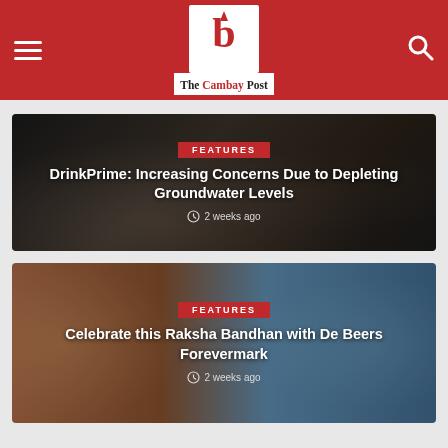The Cambay Post
[Figure (screenshot): Article card with dark background showing person with laptop and mug, FEATURES badge, title: DrinkPrime: Increasing Concerns Due to Depleting Groundwater Levels, 2 weeks ago]
[Figure (screenshot): Article card with rakhi jewelry on orange/blue background, FEATURES badge, title: Celebrate this Raksha Bandhan with De Beers Forevermark, 2 weeks ago]